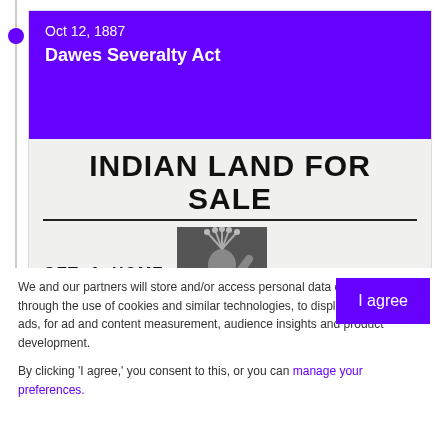Oct 12, 1887
Dawes Severalty Act
[Figure (photo): Historical newspaper advertisement showing 'INDIAN LAND FOR SALE / GET A HOME OF / PERFECT TITLE / POSSESSION' with a central photo of a Native American person in traditional headdress.]
We and our partners will store and/or access personal data on your device through the use of cookies and similar technologies, to display personalised ads, for ad and content measurement, audience insights and product development.
By clicking 'I agree,' you consent to this, or you can manage your preferences.